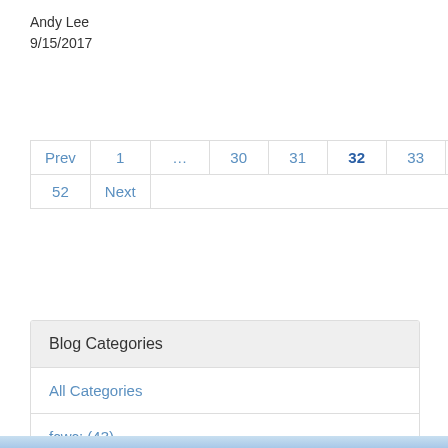Andy Lee
9/15/2017
[Figure (screenshot): Pagination controls showing: Prev, 1, ..., 30, 31, 32 (active/bold), 33, 34, ..., 52, Next]
| Blog Categories |
| All Categories |
| fcwc: (43) |
| ngcwc: (21) |